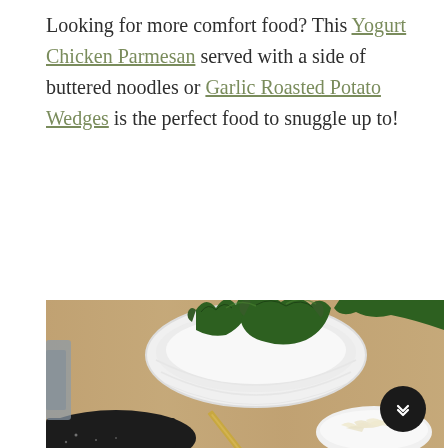Looking for more comfort food? This Yogurt Chicken Parmesan served with a side of buttered noodles or Garlic Roasted Potato Wedges is the perfect food to snuggle up to!
[Figure (photo): A food photography image showing kale leaves draped over a white ceramic bowl, with a gold/brass knife in the foreground, a dark skillet at the bottom left, and a small white bowl of shredded cheese at the bottom right. The background is a light wooden surface.]